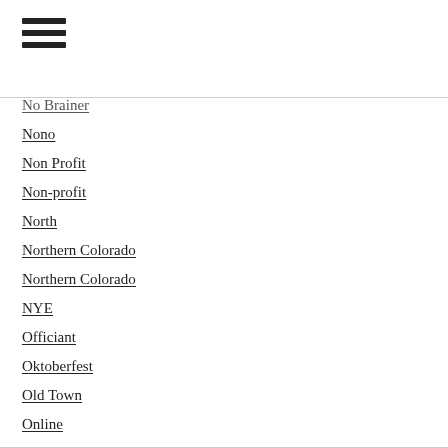[Figure (other): Hamburger menu icon with three horizontal lines]
No Brainer
Nono
Non Profit
Non-profit
North
Northern Colorado
Northern Colorado
NYE
Officiant
Oktoberfest
Old Town
Online
Online Shopping
Open House
Organizations
Original